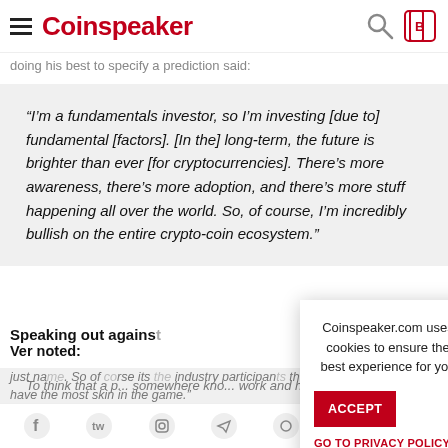Coinspeaker
doing his best to specify a prediction said:
“I’m a fundamentals investor, so I’m investing [due to] fundamental [factors]. [In the] long-term, the future is brighter than ever [for cryptocurrencies]. There’s more awareness, there’s more adoption, and there’s more stuff happening all over the world. So, of course, I’m incredibly bullish on the entire crypto-coin ecosystem.”
Speaking out agains
Ver noted:
To think that a ... somewhere kno... work and how v... just na... So of course its the industry participants that know the most and have the most skin in the game.”
Coinspeaker.com uses cookies to ensure the best experience for you